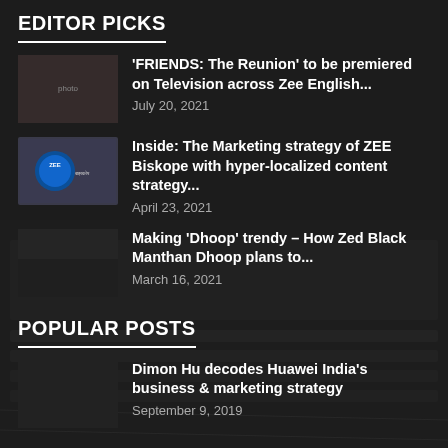EDITOR PICKS
'FRIENDS: The Reunion' to be premiered on Television across Zee English...
July 20, 2021
Inside: The Marketing strategy of ZEE Biskope with hyper-localized content strategy...
April 23, 2021
Making 'Dhoop' trendy – How Zed Black Manthan Dhoop plans to...
March 16, 2021
POPULAR POSTS
Dimon Hu decodes Huawei India's business & marketing strategy
September 9, 2019